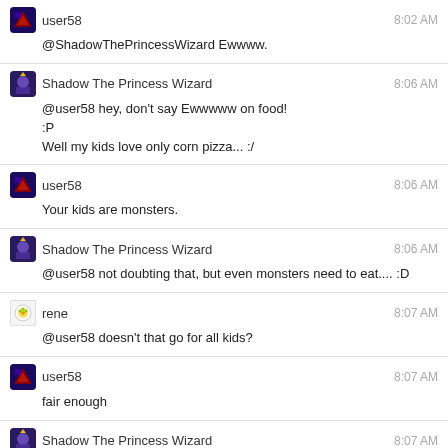user58 8:02 AM
@ShadowThePrincessWizard Ewwww.
Shadow The Princess Wizard 8:06 AM
@user58 hey, don't say Ewwwww on food!
:P
Well my kids love only corn pizza... :/
user58 8:06 AM
Your kids are monsters.
Shadow The Princess Wizard 8:06 AM
@user58 not doubting that, but even monsters need to eat.... :D
rene 8:07 AM
@user58 doesn't that go for all kids?
user58 8:07 AM
fair enough
Shadow The Princess Wizard 8:07 AM
@rene until you and/or @user58 will have kids you won't really know..... :P
[Figure (illustration): Cartoon frog face with large green eyes and orange beak, partially visible at bottom of page]